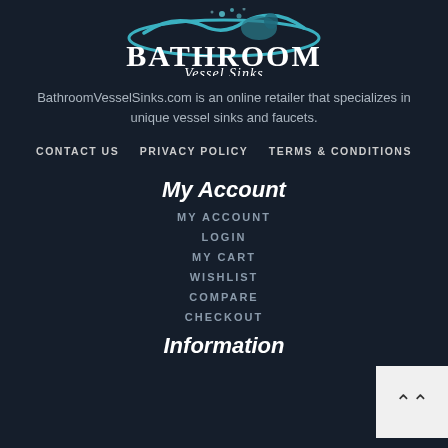[Figure (logo): Bathroom Vessel Sinks logo with teal wave/water splash graphic above text BATHROOM Vessel Sinks]
BathroomVesselSinks.com is an online retailer that specializes in unique vessel sinks and faucets.
CONTACT US
PRIVACY POLICY
TERMS & CONDITIONS
My Account
MY ACCOUNT
LOGIN
MY CART
WISHLIST
COMPARE
CHECKOUT
Information